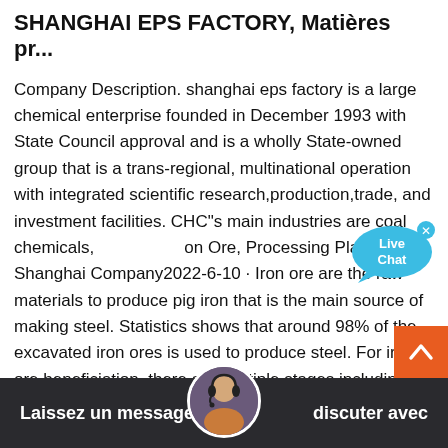SHANGHAI EPS FACTORY, Matières pr...
Company Description. shanghai eps factory is a large chemical enterprise founded in December 1993 with State Council approval and is a wholly State-owned group that is a trans-regional, multinational operation with integrated scientific research,production,trade, and investment facilities. CHC"s main industries are coal chemicals, on Ore, Processing Plant - Shanghai Company2022-6-10 · Iron ore are the raw materials to produce pig iron that is the main source of making steel. Statistics shows that around 98% of the excavated iron ores is used to produce steel. For iron ore beneficiation, there are multiple stages including crushing, grinding, classification and …
[Figure (other): Live Chat speech bubble icon with blue color and close (x) button]
[Figure (other): Orange scroll-to-top arrow button in bottom right]
Laissez un message    discuter avec